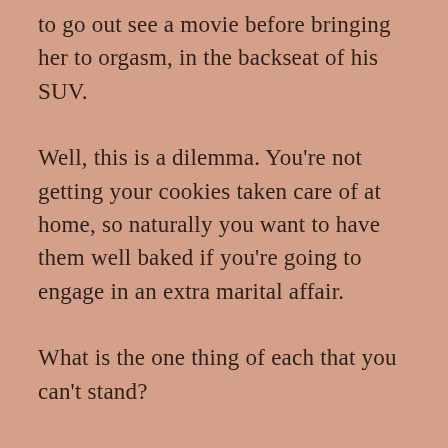to go out see a movie before bringing her to orgasm, in the backseat of his SUV.
Well, this is a dilemma. You're not getting your cookies taken care of at home, so naturally you want to have them well baked if you're going to engage in an extra marital affair.
What is the one thing of each that you can't stand?
What is the one thing of each that you absolutely adore?
Any guy can be helped to please a woman. Most men would love to be told how to please. It adds to their